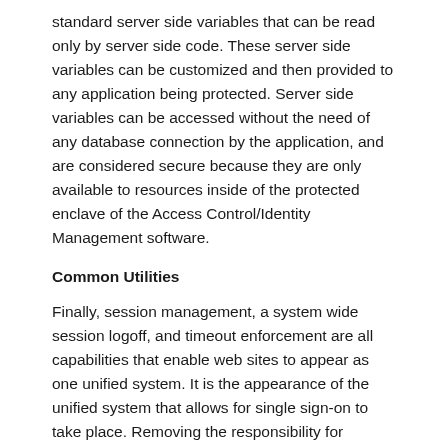standard server side variables that can be read only by server side code. These server side variables can be customized and then provided to any application being protected. Server side variables can be accessed without the need of any database connection by the application, and are considered secure because they are only available to resources inside of the protected enclave of the Access Control/Identity Management software.
Common Utilities
Finally, session management, a system wide session logoff, and timeout enforcement are all capabilities that enable web sites to appear as one unified system. It is the appearance of the unified system that allows for single sign-on to take place. Removing the responsibility for sessions from the application layer is the main factor for single sign-on.